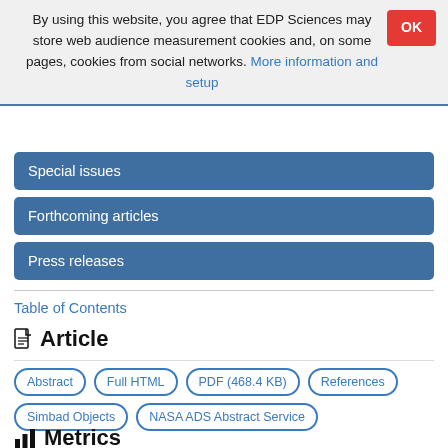By using this website, you agree that EDP Sciences may store web audience measurement cookies and, on some pages, cookies from social networks. More information and setup
Special issues
Forthcoming articles
Press releases
Table of Contents
Article
Abstract | Full HTML | PDF (468.4 KB) | References | Simbad Objects | NASA ADS Abstract Service
Metrics